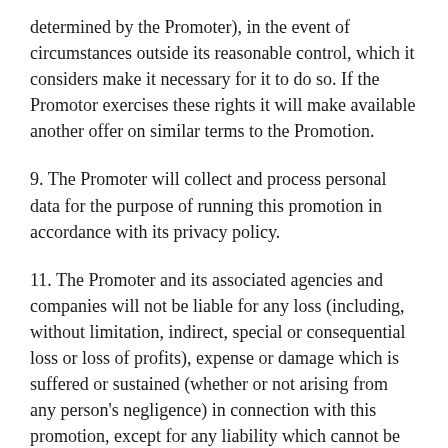determined by the Promoter), in the event of circumstances outside its reasonable control, which it considers make it necessary for it to do so. If the Promotor exercises these rights it will make available another offer on similar terms to the Promotion.
9. The Promoter will collect and process personal data for the purpose of running this promotion in accordance with its privacy policy.
11. The Promoter and its associated agencies and companies will not be liable for any loss (including, without limitation, indirect, special or consequential loss or loss of profits), expense or damage which is suffered or sustained (whether or not arising from any person’s negligence) in connection with this promotion, except for any liability which cannot be excluded by law (including personal injury, death and fraud) in which case that liability is limited to the minimum allowable by law.